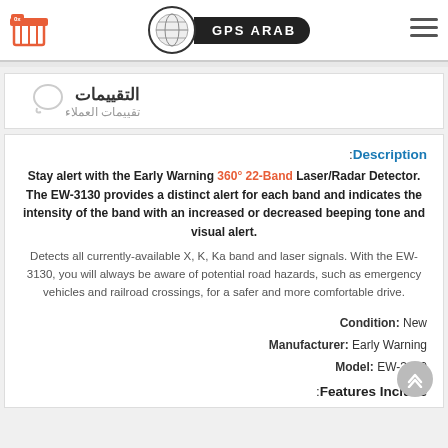GPS ARAB
التقييمات - تقييمات العملاء
Description: Stay alert with the Early Warning 360° 22-Band Laser/Radar Detector. The EW-3130 provides a distinct alert for each band and indicates the intensity of the band with an increased or decreased beeping tone and visual alert.
Detects all currently-available X, K, Ka band and laser signals. With the EW-3130, you will always be aware of potential road hazards, such as emergency vehicles and railroad crossings, for a safer and more comfortable drive.
Condition: New
Manufacturer: Early Warning
Model: EW-3130
Features Include: